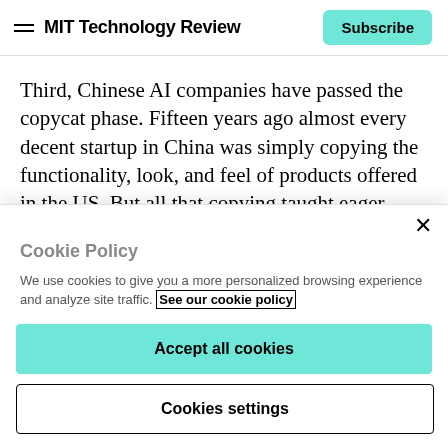MIT Technology Review | Subscribe
Third, Chinese AI companies have passed the copycat phase. Fifteen years ago almost every decent startup in China was simply copying the functionality, look, and feel of products offered in the US. But all that copying taught eager Chinese entrepreneurs how to become good product managers, and now they're on to the next stage:
Cookie Policy
We use cookies to give you a more personalized browsing experience and analyze site traffic. See our cookie policy
Accept all cookies
Cookies settings